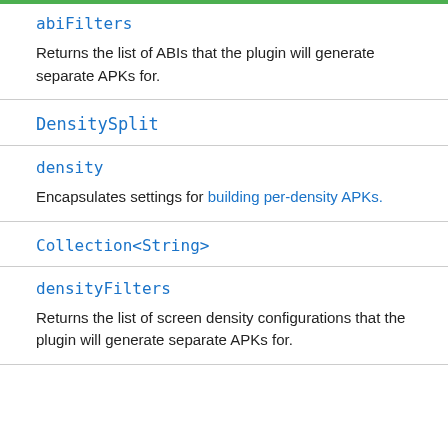abiFilters
Returns the list of ABIs that the plugin will generate separate APKs for.
DensitySplit
density
Encapsulates settings for building per-density APKs.
Collection<String>
densityFilters
Returns the list of screen density configurations that the plugin will generate separate APKs for.